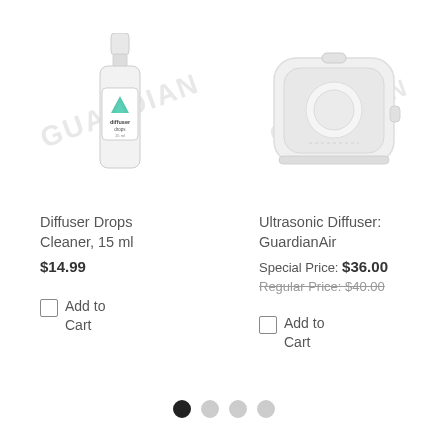[Figure (photo): Product photo of Diffuser Drops Cleaner 15ml bottle with green and teal label, on a light background with faint watermark text]
Diffuser Drops Cleaner, 15 ml
$14.99
Add to Cart
[Figure (photo): Product photo of Ultrasonic Diffuser GuardianAir — a white/translucent square humidifier device, on a light background with faint watermark text]
Ultrasonic Diffuser: GuardianAir
Special Price: $36.00
Regular Price: $40.00
Add to Cart